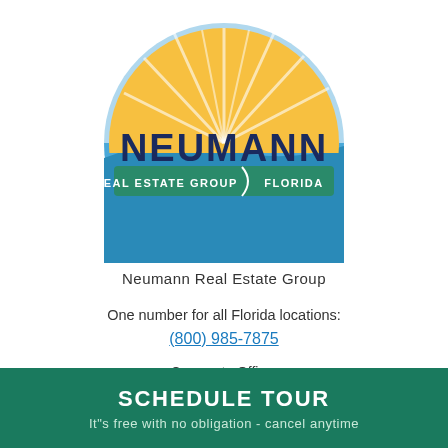[Figure (logo): Neumann Real Estate Group Florida circular logo with orange sun rays, dark blue NEUMANN text, green banner with REAL ESTATE GROUP and FLORIDA text, and blue ocean/wave lower half]
Neumann Real Estate Group
One number for all Florida locations:
(800) 985-7875
Corporate Office:
12058 San Jose Blvd, Suite 702
SCHEDULE TOUR
It"s free with no obligation - cancel anytime